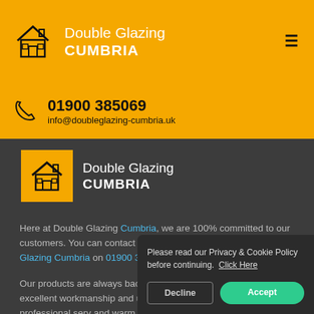Double Glazing CUMBRIA
01900 385069
info@doubleglazing-cumbria.uk
[Figure (logo): Double Glazing Cumbria logo with house icon on yellow background]
Here at Double Glazing Cumbria, we are 100% committed to our customers. You can contact Double Glazing Cumbria in Double Glazing Cumbria on 01900 385069.
Our products are always backed with the excellent workmanship and utmost professional serv... and warm. You get exact wha... as Double Glazing Cumbria o... clients.
Please read our Privacy & Cookie Policy before continuing. Click Here
Decline  Accept